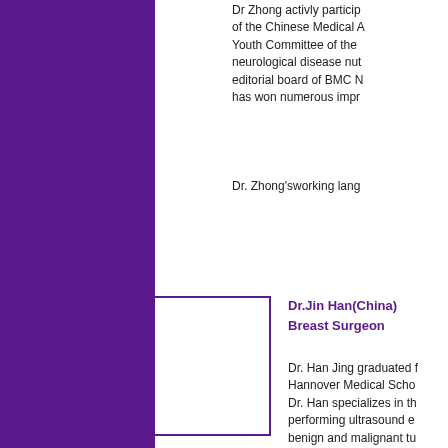Dr Zhong activly particip... of the Chinese Medical A... Youth Committee of the... neurological disease nut... editorial board of BMC N... has won numerous impr...
Dr. Zhong'sworking lang...
[Figure (photo): Photo placeholder box for Dr. Jin Han, outlined in purple]
Dr.Jin Han(China)
Breast Surgeon
Dr. Han Jing graduated f... Hannover Medical Scho...
Dr. Han specializes in th... performing ultrasound e... benign and malignant tu... breast-conserving and re... chemotherapy, endocrin... Chinese Medicine (TCM... treatment.
She led project of the Ch... China and other countrie...
Dr. Han speaks Mandari...